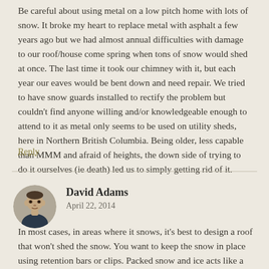Be careful about using metal on a low pitch home with lots of snow. It broke my heart to replace metal with asphalt a few years ago but we had almost annual difficulties with damage to our roof/house come spring when tons of snow would shed at once. The last time it took our chimney with it, but each year our eaves would be bent down and need repair. We tried to have snow guards installed to rectify the problem but couldn't find anyone willing and/or knowledgeable enough to attend to it as metal only seems to be used on utility sheds, here in Northern British Columbia. Being older, less capable than MMM and afraid of heights, the down side of trying to do it ourselves (ie death) led us to simply getting rid of it.
Reply
David Adams
April 22, 2014
In most cases, in areas where it snows, it's best to design a roof that won't shed the snow. You want to keep the snow in place using retention bars or clips. Packed snow and ice acts like a glacier when it moves around, and will rip your